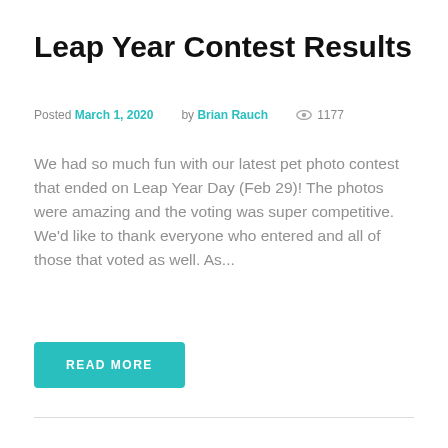Leap Year Contest Results
Posted March 1, 2020   by Brian Rauch   👁 1177
We had so much fun with our latest pet photo contest that ended on Leap Year Day (Feb 29)! The photos were amazing and the voting was super competitive. We'd like to thank everyone who entered and all of those that voted as well. As...
READ MORE